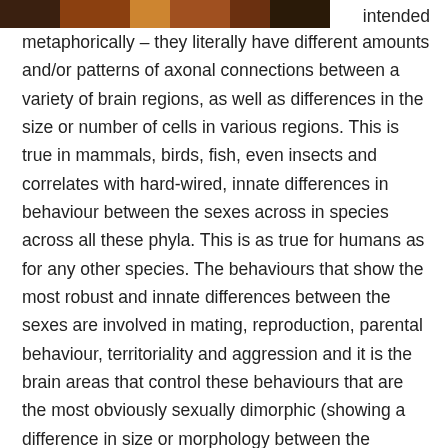[Figure (photo): Partial image strip at top of page showing what appears to be animals or figures, mostly dark/brown tones, cropped to a horizontal band]
intended metaphorically – they literally have different amounts and/or patterns of axonal connections between a variety of brain regions, as well as differences in the size or number of cells in various regions.  This is true in mammals, birds, fish, even insects and correlates with hard-wired, innate differences in behaviour between the sexes across in species across all these phyla.  This is as true for humans as for any other species.  The behaviours that show the most robust and innate differences between the sexes are involved in mating, reproduction, parental behaviour, territoriality and aggression and it is the brain areas that control these behaviours that are the most obviously sexually dimorphic (showing a difference in size or morphology between the sexes).  In mammals, these include areas in the limbic system, including parts of the hypothalamus, amygdala, preoptic area and bed nucleus of the stria terminalis.